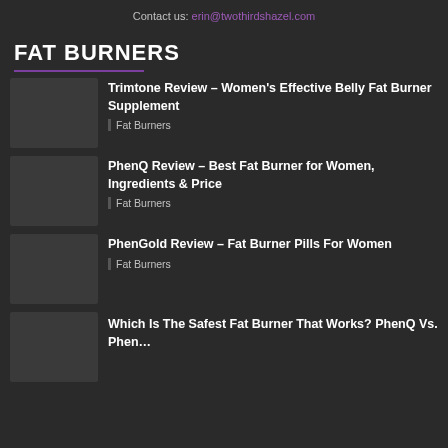Contact us: erin@twothirdshazel.com
FAT BURNERS
Trimtone Review – Women's Effective Belly Fat Burner Supplement
Fat Burners
PhenQ Review – Best Fat Burner for Women, Ingredients & Price
Fat Burners
PhenGold Review – Fat Burner Pills For Women
Fat Burners
Which Is The Safest Fat Burner That Works? PhenQ Vs. Phen…